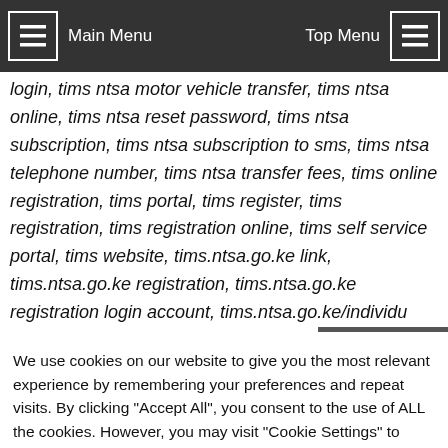Main Menu | Top Menu
login, tims ntsa motor vehicle transfer, tims ntsa online, tims ntsa reset password, tims ntsa subscription, tims ntsa subscription to sms, tims ntsa telephone number, tims ntsa transfer fees, tims online registration, tims portal, tims register, tims registration, tims registration online, tims self service portal, tims website, tims.ntsa.go.ke link, tims.ntsa.go.ke registration, tims.ntsa.go.ke registration login account, tims.ntsa.go.ke/individu...
We use cookies on our website to give you the most relevant experience by remembering your preferences and repeat visits. By clicking "Accept All", you consent to the use of ALL the cookies. However, you may visit "Cookie Settings" to provide a controlled consent.